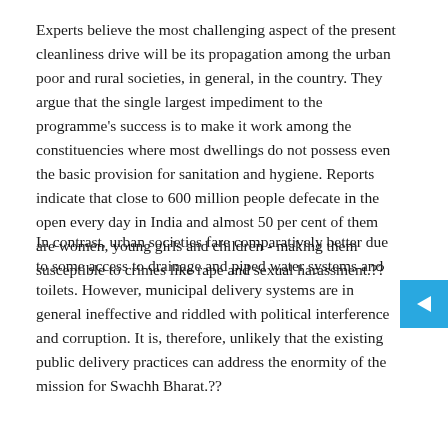Experts believe the most challenging aspect of the present cleanliness drive will be its propagation among the urban poor and rural societies, in general, in the country. They argue that the single largest impediment to the programme's success is to make it work among the constituencies where most dwellings do not possess even the basic provision for sanitation and hygiene. Reports indicate that close to 600 million people defecate in the open every day in India and almost 50 per cent of them are women, young girls and children - making them susceptible to crimes like rape and sexual harassment.??
In contrast, urban societies fare comparatively better due to some access to drainage and piped water systems and toilets. However, municipal delivery systems are in general ineffective and riddled with political interference and corruption. It is, therefore, unlikely that the existing public delivery practices can address the enormity of the mission for Swachh Bharat.??